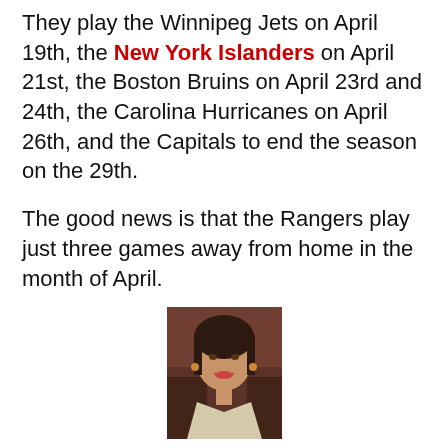They play the Winnipeg Jets on April 19th, the New York Islanders on April 21st, the Boston Bruins on April 23rd and 24th, the Carolina Hurricanes on April 26th, and the Capitals to end the season on the 29th.
The good news is that the Rangers play just three games away from home in the month of April.
[Figure (photo): Headshot photo of Leen Amin, a young woman with dark hair, smiling]
Leen Amin
Leen has written about the MLB, NBA, NFL, NHL, and international soccer. She is currently the primary NHL writer for ESNY. Leen's work has been featured